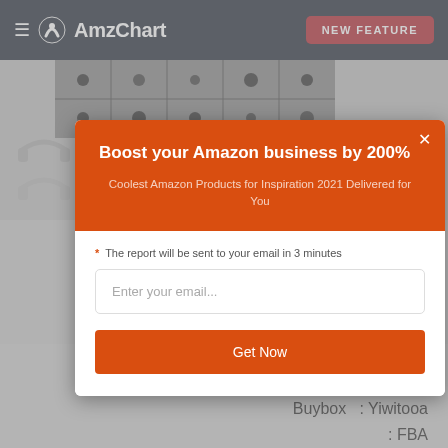AmzChart  NEW FEATURE
[Figure (screenshot): Product images showing screws/hardware assortment in compartment box and headphone clip icons in gray background]
Boost your Amazon business by 200%
Coolest Amazon Products for Inspiration 2021 Delivered for You
* The report will be sent to your email in 3 minutes
Enter your email...
Get Now
: 1
Buybox  : $10.99
Buybox  : Yiwitooa
: FBA